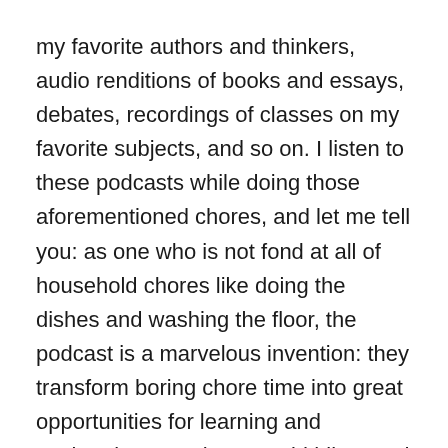my favorite authors and thinkers, audio renditions of books and essays, debates, recordings of classes on my favorite subjects, and so on. I listen to these podcasts while doing those aforementioned chores, and let me tell you: as one who is not fond at all of household chores like doing the dishes and washing the floor, the podcast is a marvelous invention: they transform boring chore time into great opportunities for learning and exploration. I'm also an avid hiker, and it's a wonderful thing to be able to immerse myself in some fascinating ideas or discussion as I immerse myself in the beauties of nature.
To begin with, this podcast will simply consist of audio recordings of my Ordinary Philosophy pieces. Over time, I may add commentary and who knows, perhaps interviews and discussions with guests. We'll see how it goes. In the meantime, here's Ordinary Philosophy in audio form: I